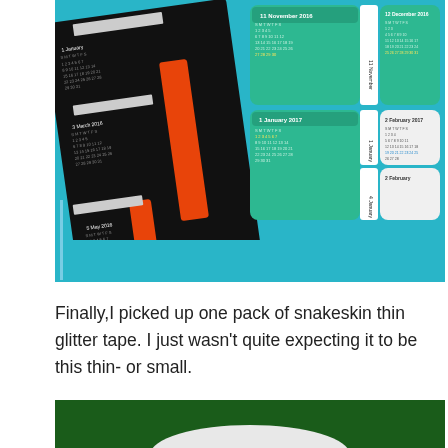[Figure (photo): Photo of calendar sticker sheets laid out on a teal fabric background. The calendars show months from 2016-2017 including January, March, May, November, December, January, February on black and green backgrounds with orange and teal accents.]
Finally,I picked up one pack of snakeskin thin glitter tape. I just wasn't quite expecting it to be this thin- or small.
[Figure (photo): Partial photo showing a white object against a dark green background, cropped at the bottom of the page.]